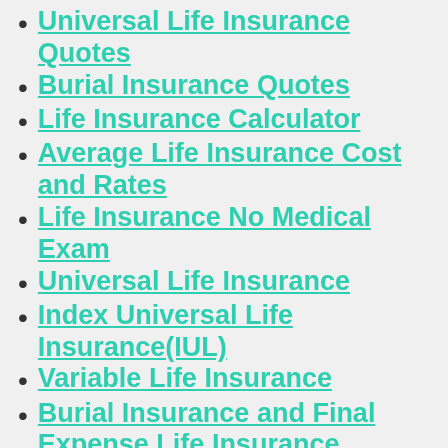Universal Life Insurance Quotes
Burial Insurance Quotes
Life Insurance Calculator
Average Life Insurance Cost and Rates
Life Insurance No Medical Exam
Universal Life Insurance
Index Universal Life Insurance(IUL)
Variable Life Insurance
Burial Insurance and Final Expense Life Insurance
Term vs. Permanent Life Insurance
Life Insurance: Whole vs. Term?
Life Insurance For Seniors
How Much Life Insurance Do I Need?
Life Insurance With Cash Value